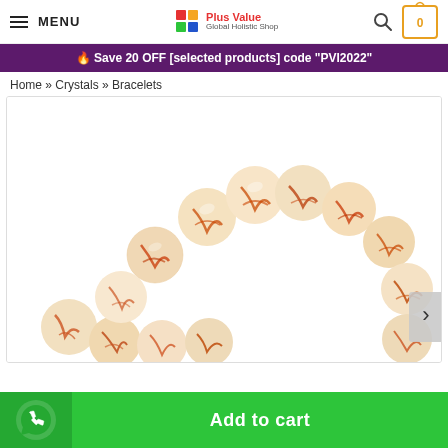MENU | Plus Value Global Holistic Shop | Search | Cart 0
🔥 Save 20 OFF  [selected products] code "PVI2022"
Home » Crystals » Bracelets
[Figure (photo): Crystal bead bracelet with cream and orange/rust colored marbled beads arranged in an arc shape on a white background. A next arrow button is visible on the right side.]
Add to cart